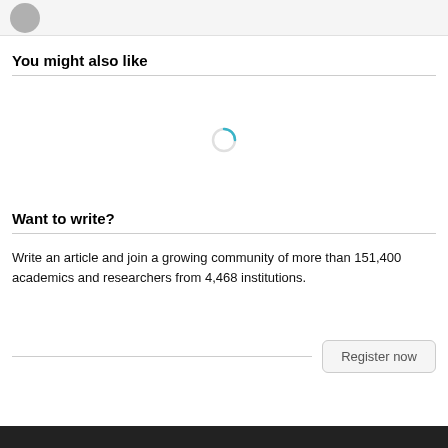[Figure (photo): Partial view of a circular avatar photo in the top-left corner on a light gray background bar]
You might also like
[Figure (other): Loading spinner (circular progress indicator in teal/cyan color)]
Want to write?
Write an article and join a growing community of more than 151,400 academics and researchers from 4,468 institutions.
Register now